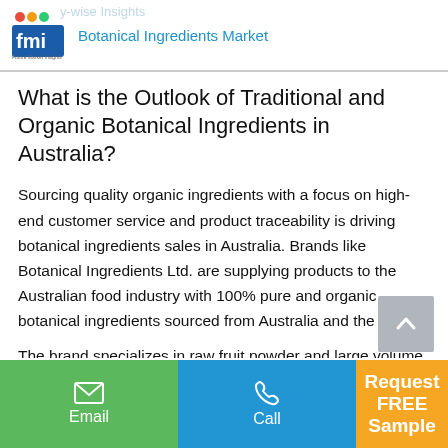Botanical Ingredients Market
What is the Outlook of Traditional and Organic Botanical Ingredients in Australia?
Sourcing quality organic ingredients with a focus on high-end customer service and product traceability is driving botanical ingredients sales in Australia. Brands like Botanical Ingredients Ltd. are supplying products to the Australian food industry with 100% pure and organic botanical ingredients sourced from Australia and the EU.
The brand specializes in raw fruit powder and large volume freeze dried fruits, coupled with coconut, organic ca…
Email | Call | Request FREE Sample